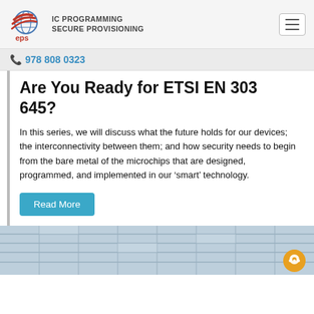IC PROGRAMMING SECURE PROVISIONING eps
978 808 0323
Are You Ready for ETSI EN 303 645?
In this series, we will discuss what the future holds for our devices; the interconnectivity between them; and how security needs to begin from the bare metal of the microchips that are designed, programmed, and implemented in our ‘smart’ technology.
Read More
[Figure (photo): Bottom portion of a building with glass facade/windows, greyscale/blue tones with a chat bubble UI element in the bottom right corner]